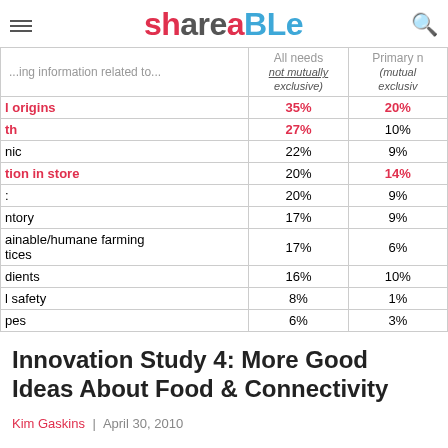Shareable
| ...ing information related to... | All needs (not mutually exclusive) | Primary n (mutually exclusiv |
| --- | --- | --- |
| l origins | 35% | 20% |
| th | 27% | 10% |
| nic | 22% | 9% |
| tion in store | 20% | 14% |
| : | 20% | 9% |
| ntory | 17% | 9% |
| ainable/humane farming tices | 17% | 6% |
| dients | 16% | 10% |
| l safety | 8% | 1% |
| pes | 6% | 3% |
Innovation Study 4: More Good Ideas About Food & Connectivity
Kim Gaskins | April 30, 2010